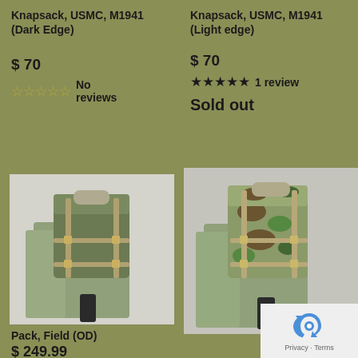Knapsack, USMC, M1941 (Dark Edge)
$ 70
☆☆☆☆☆ No reviews
Knapsack, USMC, M1941 (Light edge)
$ 70
★★★★★ 1 review
Sold out
[Figure (photo): Military knapsack (dark edge) on a mannequin with olive drab jacket]
[Figure (photo): Military knapsack (light edge/camouflage) on a mannequin with olive drab jacket]
Pack, Field (OD)
$ 249.99
[Figure (logo): reCAPTCHA widget with Privacy and Terms links]